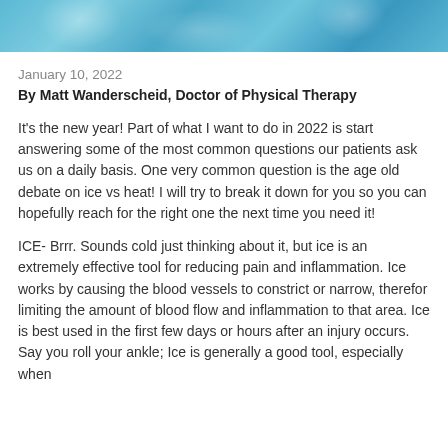[Figure (photo): Blue decorative header image with ice/cold water texture in shades of blue and white]
January 10, 2022
By Matt Wanderscheid, Doctor of Physical Therapy
It's the new year! Part of what I want to do in 2022 is start answering some of the most common questions our patients ask us on a daily basis. One very common question is the age old debate on ice vs heat! I will try to break it down for you so you can hopefully reach for the right one the next time you need it!
ICE- Brrr. Sounds cold just thinking about it, but ice is an extremely effective tool for reducing pain and inflammation. Ice works by causing the blood vessels to constrict or narrow, therefor limiting the amount of blood flow and inflammation to that area. Ice is best used in the first few days or hours after an injury occurs. Say you roll your ankle; Ice is generally a good tool, especially when